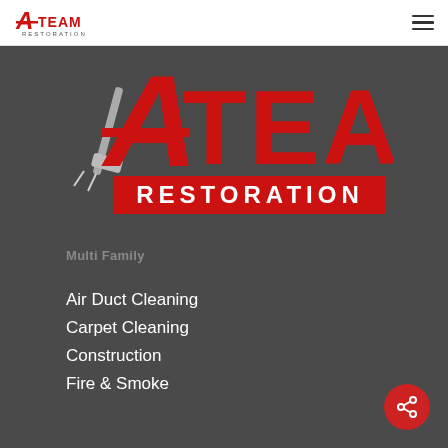[Figure (logo): A-Team Restoration small logo in top navigation bar]
[Figure (logo): A-Team Restoration large red logo centered on dark background with stylized A and carpet cleaning wand]
Multi Family
Air Duct Cleaning
Carpet Cleaning
Construction
Fire & Smoke